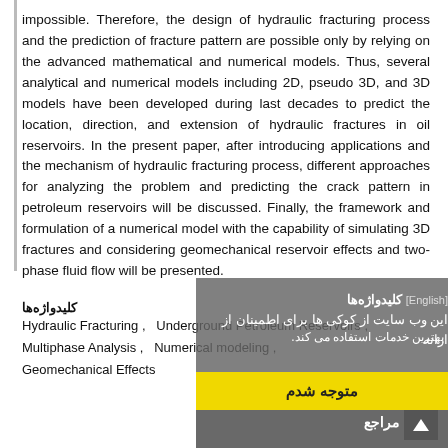impossible. Therefore, the design of hydraulic fracturing process and the prediction of fracture pattern are possible only by relying on the advanced mathematical and numerical models. Thus, several analytical and numerical models including 2D, pseudo 3D, and 3D models have been developed during last decades to predict the location, direction, and extension of hydraulic fractures in oil reservoirs. In the present paper, after introducing applications and the mechanism of hydraulic fracturing process, different approaches for analyzing the problem and predicting the crack pattern in petroleum reservoirs will be discussed. Finally, the framework and formulation of a numerical model with the capability of simulating 3D fractures and considering geomechanical reservoir effects and two-phase fluid flow will be presented.
Hydraulic Fracturing ,  Underground Petroleum Reservoirs ,
Multiphase Analysis ,  Numerical modeling ,
Geomechanical Effects